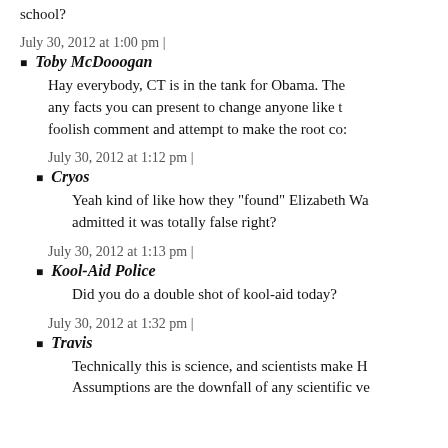school?
July 30, 2012 at 1:00 pm |
Toby McDooogan
Hay everybody, CT is in the tank for Obama. The any facts you can present to change anyone like t foolish comment and attempt to make the root co:
July 30, 2012 at 1:12 pm |
Cryos
Yeah kind of like how they "found" Elizabeth Wa admitted it was totally false right?
July 30, 2012 at 1:13 pm |
Kool-Aid Police
Did you do a double shot of kool-aid today?
July 30, 2012 at 1:32 pm |
Travis
Technically this is science, and scientists make H Assumptions are the downfall of any scientific ve